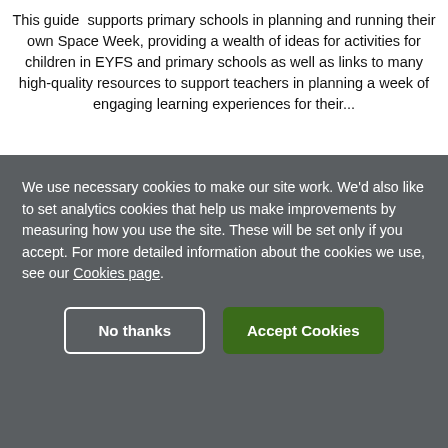This guide supports primary schools in planning and running their own Space Week, providing a wealth of ideas for activities for children in EYFS and primary schools as well as links to many high-quality resources to support teachers in planning a week of engaging learning experiences for their...
We use necessary cookies to make our site work. We'd also like to set analytics cookies that help us make improvements by measuring how you use the site. These will be set only if you accept. For more detailed information about the cookies we use, see our Cookies page.